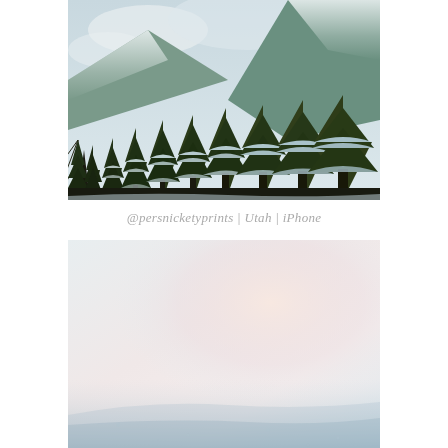[Figure (photo): Wide landscape photo of snow-covered evergreen pine trees in the foreground with mountains partially obscured by clouds in the background. Winter scene in Utah.]
@persnicketyprints | Utah | iPhone
[Figure (photo): Blurry, washed-out winter outdoor photo with soft pink and white light, possibly showing a snowy or icy outdoor scene with very low contrast and hazy appearance.]